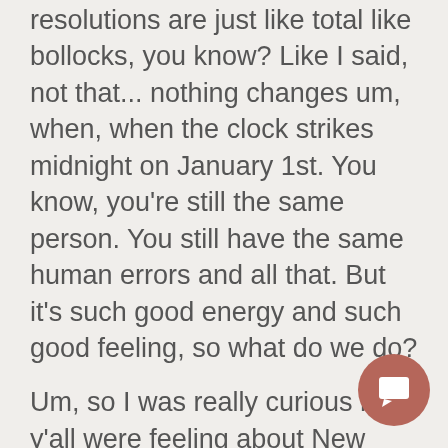resolutions are just like total like bollocks, you know? Like I said, not that... nothing changes um, when, when the clock strikes midnight on January 1st. You know, you're still the same person. You still have the same human errors and all that. But it's such good energy and such good feeling, so what do we do?
Um, so I was really curious how y'all were feeling about New Year's resolutions, and, um, so I polled, I polled my Instagram followers the other week, and I asked, like, what do you think about New Year's resolutions? And the two options were "love a fresh start" and then the other option was "they never work."
And, I mean, it was kind of no surprise to see that 49% of you said that you love a fresh start and 51% of you said they never work you know what, I think everyone here is correct. Like, that is exactly how I feel. I like